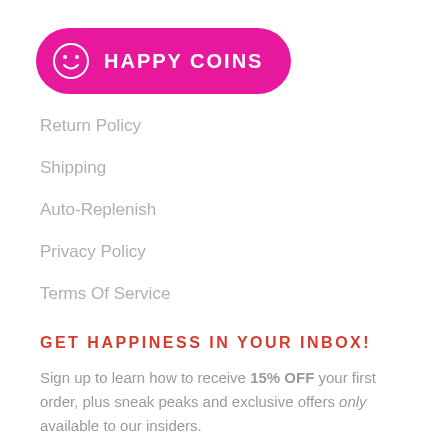[Figure (logo): Happy Coins button/logo — pill-shaped magenta/pink button with a smiley face coin icon and text HAPPY COINS in white]
Return Policy
Shipping
Auto-Replenish
Privacy Policy
Terms Of Service
GET HAPPINESS IN YOUR INBOX!
Sign up to learn how to receive 15% OFF your first order, plus sneak peaks and exclusive offers only available to our insiders.
Enter your email address